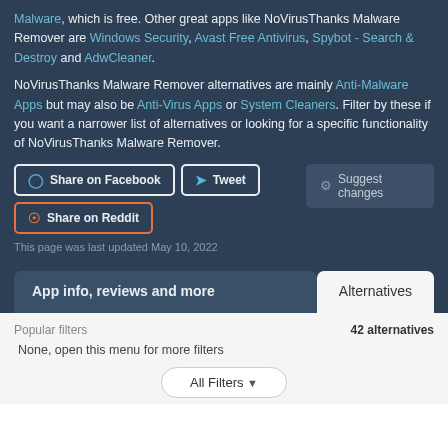Malware, which is free. Other great apps like NoVirusThanks Malware Remover are Windows Security, Avast Free Antivirus, Spybot - Search & Destroy and AdwCleaner.
NoVirusThanks Malware Remover alternatives are mainly Anti-Malware Apps but may also be Anti-Virus Apps or System Cleaners. Filter by these if you want a narrower list of alternatives or looking for a specific functionality of NoVirusThanks Malware Remover.
Share on Facebook  Tweet  Share on Reddit  Suggest changes
This page was last updated May 10, 2022
App info, reviews and more  Alternatives
Popular filters  42 alternatives
None, open this menu for more filters
All Filters